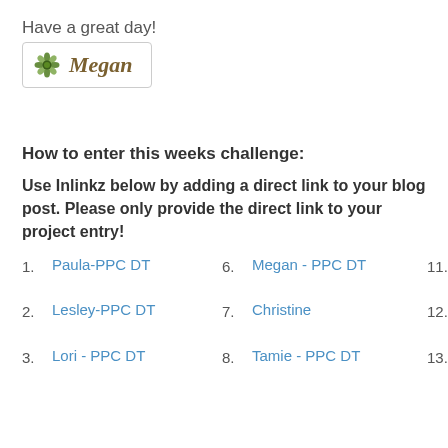Have a great day!
[Figure (illustration): Signature block with a decorative flower icon and the name 'Megan' in italic serif font inside a rounded rectangle border]
How to enter this weeks challenge:
Use Inlinkz below by adding a direct link to your blog post. Please only provide the direct link to your project entry!
1. Paula-PPC DT
6. Megan - PPC DT
11. Jen Mitchell
2. Lesley-PPC DT
7. Christine
12. Betty aka ZacksNana
3. Lori - PPC DT
8. Tamie - PPC DT
13. Jen W.